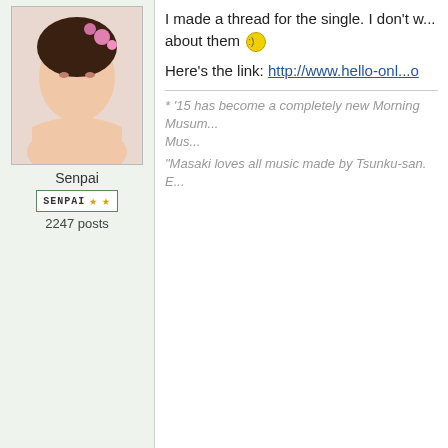[Figure (photo): Photo of a young woman with flowers in her hair, looking over her shoulder]
Senpai
SENPAI ★ ★
2247 posts
I made a thread for the single. I don't... about them :) Here's the link: http://www.hello-onl...o
* '15 has become a completely new Morning Musum... Must...
"Masaki loves all music made by Tsunku-san. E...
fishitoburton
8th gen member
[Figure (photo): Person in a black and white cow/robot costume with arms crossed]
Posted 31 March 2016 - 03:33 AM
I just felt in love with the under member... noriokureta basu or □□□□□□□
https://youtu.be/vq8XaE3kZHo